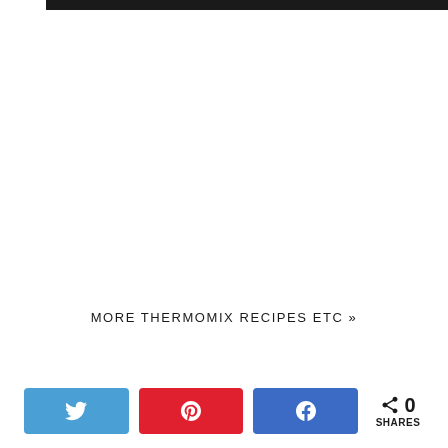[Figure (other): Black horizontal bar at top of page]
MORE THERMOMIX RECIPES ETC »
[Figure (infographic): Social sharing bar with Twitter, Pinterest, and Facebook buttons plus share count showing 0 SHARES]